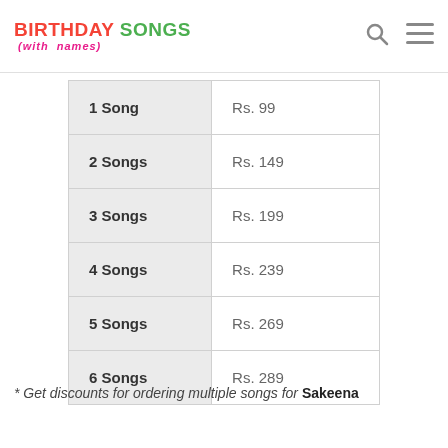BIRTHDAY SONGS (with names)
| Songs | Price |
| --- | --- |
| 1 Song | Rs. 99 |
| 2 Songs | Rs. 149 |
| 3 Songs | Rs. 199 |
| 4 Songs | Rs. 239 |
| 5 Songs | Rs. 269 |
| 6 Songs | Rs. 289 |
* Get discounts for ordering multiple songs for Sakeena